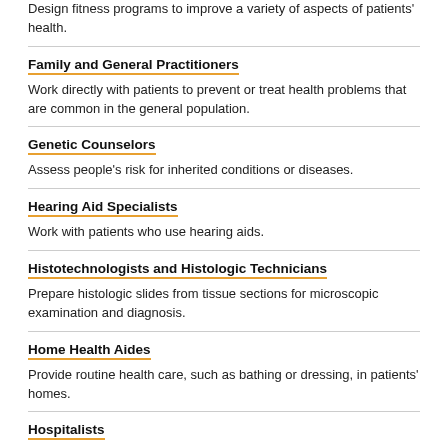Design fitness programs to improve a variety of aspects of patients' health.
Family and General Practitioners
Work directly with patients to prevent or treat health problems that are common in the general population.
Genetic Counselors
Assess people's risk for inherited conditions or diseases.
Hearing Aid Specialists
Work with patients who use hearing aids.
Histotechnologists and Histologic Technicians
Prepare histologic slides from tissue sections for microscopic examination and diagnosis.
Home Health Aides
Provide routine health care, such as bathing or dressing, in patients' homes.
Hospitalists
Provide care to patients in hospitals.
Internists